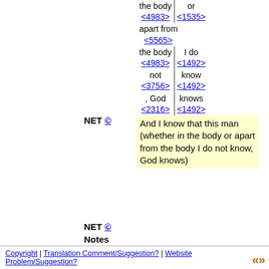| the body | or |
| <4983> | <1535> |
| apart from |  |
| <5565> |  |
| the body | I do |
| <4983> | <1492> |
| not | know |
| <3756> | <1492> |
| , God | knows |
| <2316> | <1492> |
NET © And I know that this man (whether in the body or apart from the body I do not know, God knows)
NET © Notes
Copyright | Translation Comment/Suggestion? | Website Problem/Suggestion?